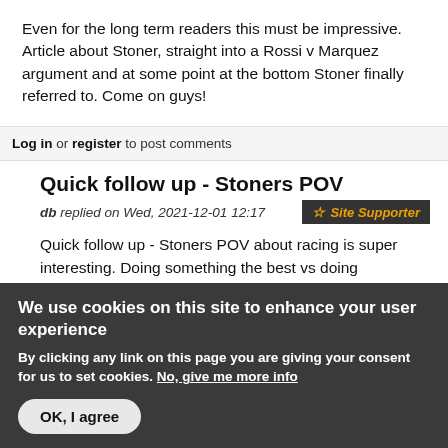Even for the long term readers this must be impressive. Article about Stoner, straight into a Rossi v Marquez argument and at some point at the bottom Stoner finally referred to. Come on guys!
Log in or register to post comments
Quick follow up - Stoners POV
db replied on Wed, 2021-12-01 12:17  ☆ Site Supporter
Quick follow up - Stoners POV about racing is super interesting. Doing something the best vs doing
We use cookies on this site to enhance your user experience
By clicking any link on this page you are giving your consent for us to set cookies. No, give me more info
OK, I agree